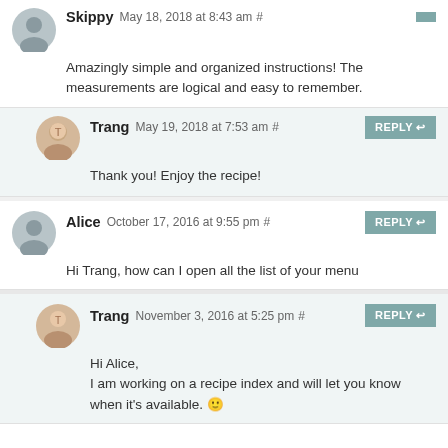Skippy May 18, 2018 at 8:43 am #
Amazingly simple and organized instructions! The measurements are logical and easy to remember.
Trang May 19, 2018 at 7:53 am #
Thank you! Enjoy the recipe!
Alice October 17, 2016 at 9:55 pm #
Hi Trang, how can I open all the list of your menu
Trang November 3, 2016 at 5:25 pm #
Hi Alice,
I am working on a recipe index and will let you know when it's available. 🙂